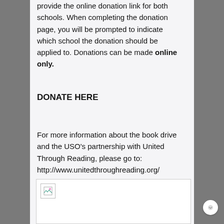This year, the Friends of Washington, DC will provide the online donation link for both schools. When completing the donation page, you will be prompted to indicate which school the donation should be applied to. Donations can be made online only.
DONATE HERE
For more information about the book drive and the USO's partnership with United Through Reading, please go to: http://www.unitedthroughreading.org/
[Figure (photo): A placeholder image box with a broken image icon in the top-left corner]